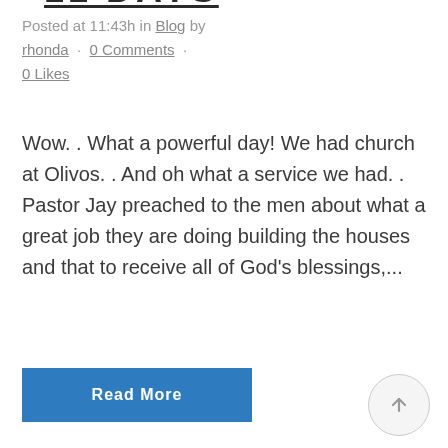11 DAYS
Posted at 11:43h in Blog by rhonda · 0 Comments · 0 Likes
Wow. . What a powerful day! We had church at Olivos. . And oh what a service we had. . Pastor Jay preached to the men about what a great job they are doing building the houses and that to receive all of God's blessings,...
Read More